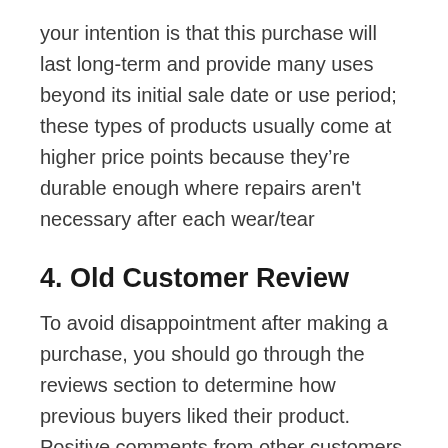your intention is that this purchase will last long-term and provide many uses beyond its initial sale date or use period; these types of products usually come at higher price points because they're durable enough where repairs aren't necessary after each wear/tear
4. Old Customer Review
To avoid disappointment after making a purchase, you should go through the reviews section to determine how previous buyers liked their product. Positive comments from other customers are an indication that it's of good quality but negative feedback could indicate otherwise if there were many complaints about the same item with only